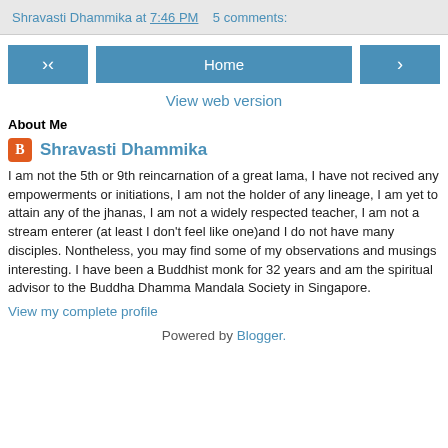Shravasti Dhammika at 7:46 PM    5 comments:
[Figure (other): Navigation row with back arrow button, Home button, and forward arrow button]
View web version
About Me
Shravasti Dhammika
I am not the 5th or 9th reincarnation of a great lama, I have not recived any empowerments or initiations, I am not the holder of any lineage, I am yet to attain any of the jhanas, I am not a widely respected teacher, I am not a stream enterer (at least I don't feel like one)and I do not have many disciples. Nontheless, you may find some of my observations and musings interesting. I have been a Buddhist monk for 32 years and am the spiritual advisor to the Buddha Dhamma Mandala Society in Singapore.
View my complete profile
Powered by Blogger.